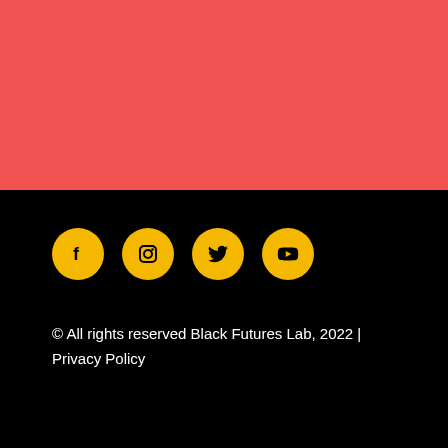[Figure (illustration): Red/coral colored rectangular banner section occupying the top portion of the page]
[Figure (other): Four yellow circular social media icons (Facebook, Instagram, Twitter, YouTube) on a black background]
© All rights reserved Black Futures Lab, 2022 | Privacy Policy